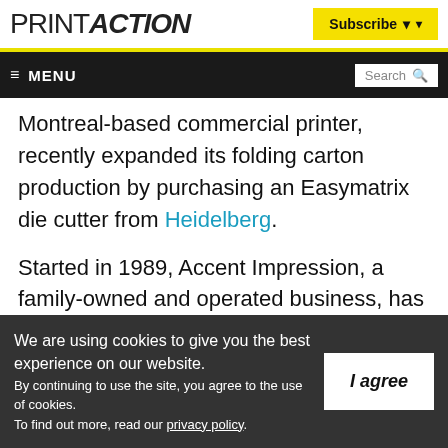PRINTACTION | Subscribe
≡ MENU | Search
Montreal-based commercial printer, recently expanded its folding carton production by purchasing an Easymatrix die cutter from Heidelberg.
Started in 1989, Accent Impression, a family-owned and operated business, has focused on
We are using cookies to give you the best experience on our website.
By continuing to use the site, you agree to the use of cookies.
To find out more, read our privacy policy.